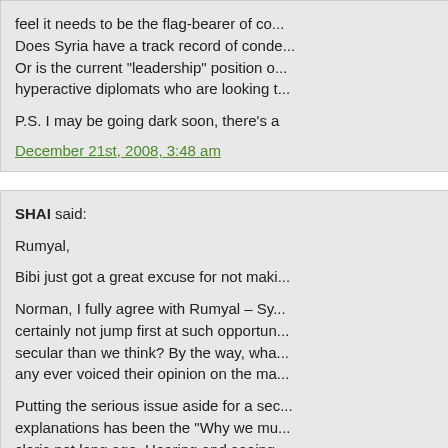feel it needs to be the flag-bearer of co... Does Syria have a track record of conde... Or is the current "leadership" position o... hyperactive diplomats who are looking t...
P.S. I may be going dark soon, there's a
December 21st, 2008, 3:48 am
SHAI said:
Rumyal,
Bibi just got a great excuse for not maki
Norman, I fully agree with Rumyal – Sy... certainly not jump first at such opportun... secular than we think? By the way, wha... any ever voiced their opinion on the ma...
Putting the serious issue aside for a sec... explanations has been the "Why we mu... cleric not long ago. Hearing and seeing ... even me to temporarily consider any va... wondered how many man-years were w...
December 21st, 2008, 5:10 am
SHAI said:
Assad tells European diplomats that he won't be "Israel's bodyguard"... http://w...